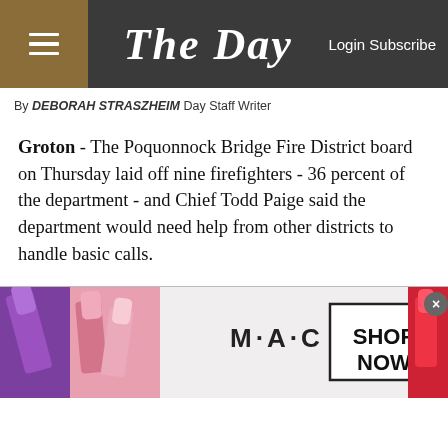The Day  Login Subscribe
By DEBORAH STRASZHEIM Day Staff Writer
Groton - The Poquonnock Bridge Fire District board on Thursday laid off nine firefighters - 36 percent of the department - and Chief Todd Paige said the department would need help from other districts to handle basic calls.
Firefighters said the change, which the board of directors didn't vote on but authorized by consent, would increase emergency response time, because they'd have to wait for mutual aid or endanger their safety.
"If my house burns or my husband gets hurt on the job
[Figure (photo): M·A·C cosmetics advertisement showing lipsticks in purple, pink, and red colors with SHOP NOW button]